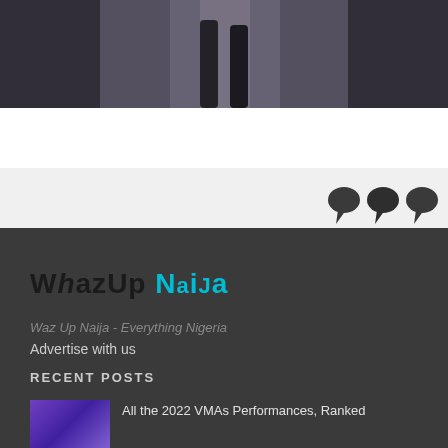[Figure (photo): Dark photo showing a person's legs/lower body in what appears to be a grey/dark background]
[Figure (illustration): Three dark speech bubble icons in a row on a light grey background]
[Figure (logo): WhazUp Naija logo - dark text WHAZUP with teal NAIJA text]
Waz Up Naija - Everything Nigeria
Advertise with us
RECENT POSTS
[Figure (photo): Thumbnail image with purple/blue tones showing performers]
All the 2022 VMAs Performances, Ranked